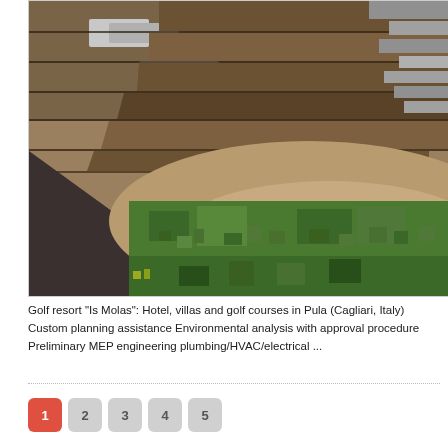[Figure (photo): Aerial view of Golf resort construction site showing terraced wooden structures and green vegetation, taken from above]
Golf resort "Is Molas": Hotel, villas and golf courses in Pula (Cagliari, Italy) Custom planning assistance Environmental analysis with approval procedure Preliminary MEP engineering plumbing/HVAC/electrical ...